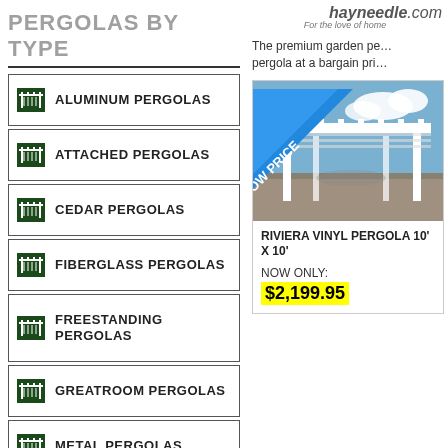PERGOLAS BY TYPE
ALUMINUM PERGOLAS
ATTACHED PERGOLAS
CEDAR PERGOLAS
FIBERGLASS PERGOLAS
FREESTANDING PERGOLAS
GREATROOM PERGOLAS
METAL PERGOLAS
PATIO PERGOLAS
PERGOLA ACCESSORIES
PERGOLA KITS
hayneedle.com — For the love of home
The premium garden pe… pergola at a bargain pri…
[Figure (photo): White vinyl pergola with LOW PRICE ribbon banner]
RIVIERA VINYL PERGOLA 10' X 10'
NOW ONLY: $2,199.95